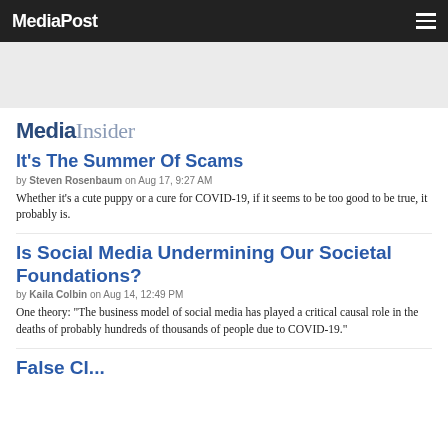MediaPost
[Figure (other): Gray advertisement banner area]
MediaInsider
It's The Summer Of Scams
by Steven Rosenbaum on Aug 17, 9:27 AM
Whether it's a cute puppy or a cure for COVID-19, if it seems to be too good to be true, it probably is.
Is Social Media Undermining Our Societal Foundations?
by Kaila Colbin on Aug 14, 12:49 PM
One theory: "The business model of social media has played a critical causal role in the deaths of probably hundreds of thousands of people due to COVID-19."
False Cl...